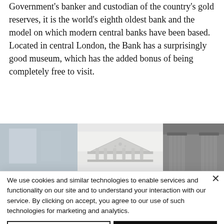Government's banker and custodian of the country's gold reserves, it is the world's eighth oldest bank and the model on which modern central banks have been based. Located in central London, the Bank has a surprisingly good museum, which has the added bonus of being completely free to visit.
[Figure (photo): Three images of a classical building (Bank of England): a bluish-tinted left panel, a center image showing a pediment/portico, and a right image showing classical columns.]
We use cookies and similar technologies to enable services and functionality on our site and to understand your interaction with our service. By clicking on accept, you agree to our use of such technologies for marketing and analytics.
Decline All
Accept
Cookie Settings